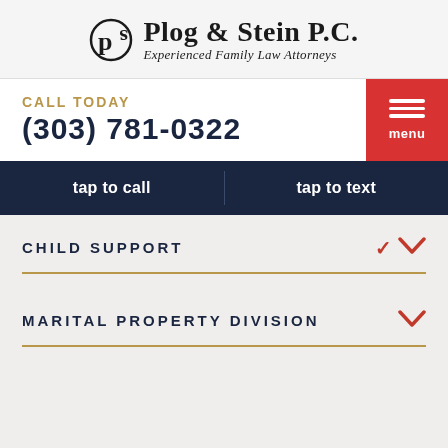[Figure (logo): Plog & Stein P.C. law firm logo with stylized P&S icon and tagline 'Experienced Family Law Attorneys']
CALL TODAY
(303) 781-0322
tap to call
tap to text
CHILD SUPPORT
MARITAL PROPERTY DIVISION